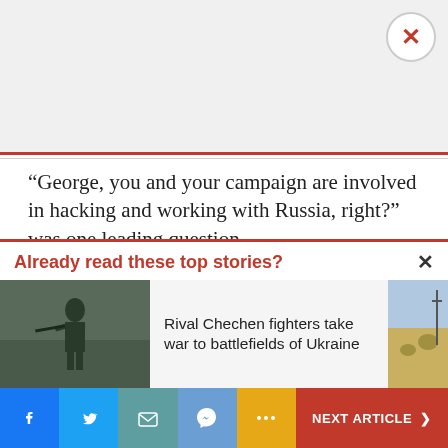[Figure (other): Gray advertisement banner area with close/X button in top-right corner]
“George, you and your campaign are involved in hacking and working with Russia, right?” was one leading question.
The Horowitz report supplies Papadopoulos’ answer, perhaps recorded on that cellphone.
Already read these top stories?
Rival Chechen fighters take war to battlefields of Ukraine
NEXT ARTICLE >